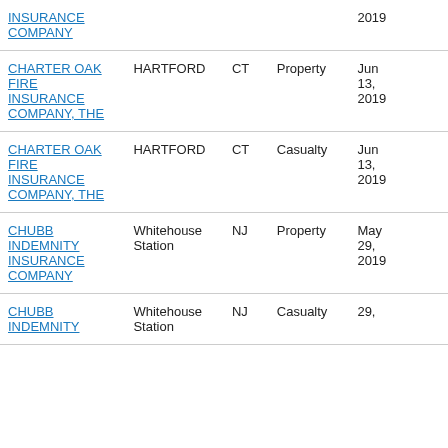| Company | City | State | Type | Date |
| --- | --- | --- | --- | --- |
| INSURANCE COMPANY |  |  |  | 2019 |
| CHARTER OAK FIRE INSURANCE COMPANY, THE | HARTFORD | CT | Property | Jun 13, 2019 |
| CHARTER OAK FIRE INSURANCE COMPANY, THE | HARTFORD | CT | Casualty | Jun 13, 2019 |
| CHUBB INDEMNITY INSURANCE COMPANY | Whitehouse Station | NJ | Property | May 29, 2019 |
| CHUBB INDEMNITY | Whitehouse Station | NJ | Casualty | 29, |